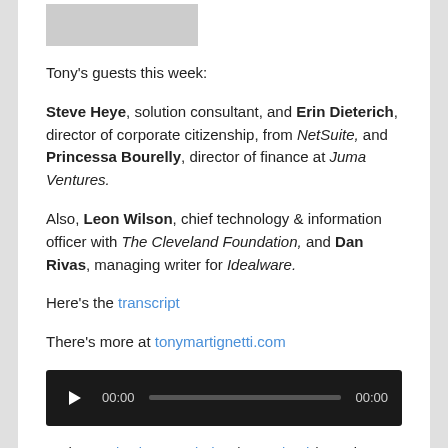[Figure (photo): Partial photo of a person at top of page]
Tony's guests this week:
Steve Heye, solution consultant, and Erin Dieterich, director of corporate citizenship, from NetSuite, and Princessa Bourelly, director of finance at Juma Ventures.
Also, Leon Wilson, chief technology & information officer with The Cleveland Foundation, and Dan Rivas, managing writer for Idealware.
Here's the transcript
There's more at tonymartignetti.com
[Figure (other): Audio player widget with play button, time display 00:00, progress bar, and end time 00:00]
Podcast: Play in new window | Download (Duration: